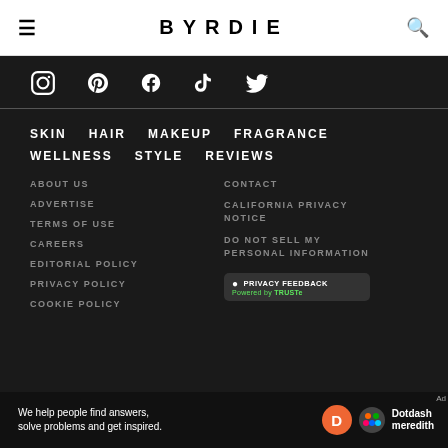BYRDIE
[Figure (other): Social media icons row: Instagram, Pinterest, Facebook, TikTok, Twitter in white on black background]
SKIN  HAIR  MAKEUP  FRAGRANCE
WELLNESS  STYLE  REVIEWS
ABOUT US
ADVERTISE
TERMS OF USE
CAREERS
EDITORIAL POLICY
PRIVACY POLICY
COOKIE POLICY
CONTACT
CALIFORNIA PRIVACY NOTICE
DO NOT SELL MY PERSONAL INFORMATION
[Figure (other): Privacy Feedback badge powered by TRUSTe]
We help people find answers, solve problems and get inspired.
[Figure (logo): Dotdash Meredith logo]